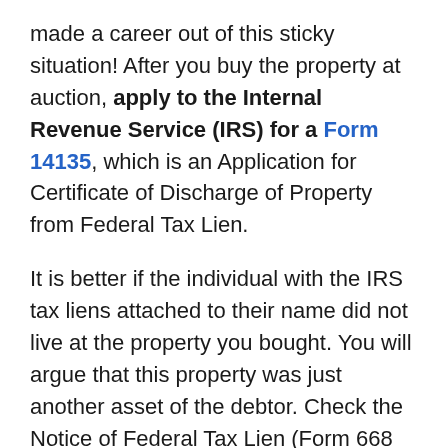made a career out of this sticky situation! After you buy the property at auction, apply to the Internal Revenue Service (IRS) for a Form 14135, which is an Application for Certificate of Discharge of Property from Federal Tax Lien.
It is better if the individual with the IRS tax liens attached to their name did not live at the property you bought. You will argue that this property was just another asset of the debtor. Check the Notice of Federal Tax Lien (Form 668 [y] & [c]), which can be viewed at local county records, to see what the delinquent taxpayer has listed as their residence.
If the foreclosed property is the registered address, it's not the end of the world. It will just make the journey a little harder.